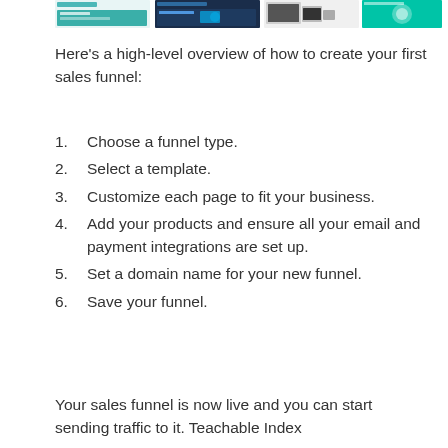[Figure (screenshot): Row of website/app screenshots showing various ClickFunnels or similar sales funnel builder interface screenshots including green, dark blue, and light-colored UI panels.]
Here’s a high-level overview of how to create your first sales funnel:
Choose a funnel type.
Select a template.
Customize each page to fit your business.
Add your products and ensure all your email and payment integrations are set up.
Set a domain name for your new funnel.
Save your funnel.
Your sales funnel is now live and you can start sending traffic to it. Teachable Index